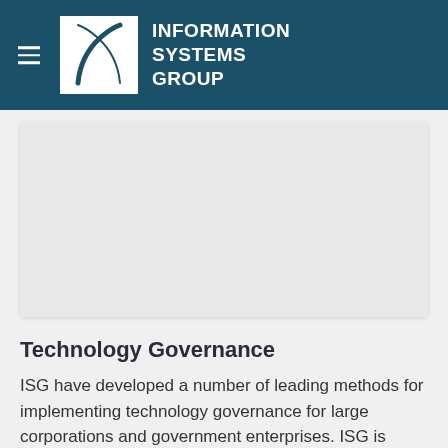INFORMATION SYSTEMS GROUP
[Figure (other): Gray placeholder content card area]
Technology Governance
ISG have developed a number of leading methods for implementing technology governance for large corporations and government enterprises. ISG is committed to providing clients with governance...